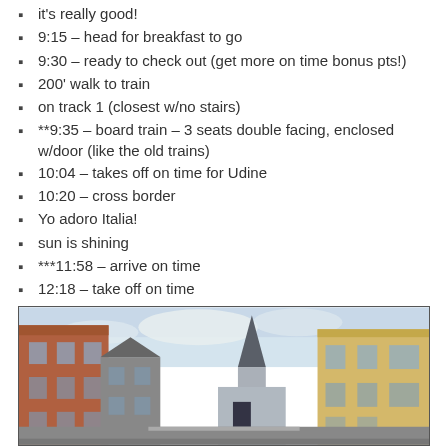it's really good!
9:15 – head for breakfast to go
9:30 – ready to check out (get more on time bonus pts!)
200' walk to train
on track 1 (closest w/no stairs)
**9:35 – board train – 3 seats double facing, enclosed w/door (like the old trains)
10:04 – takes off on time for Udine
10:20 – cross border
Yo adoro Italia!
sun is shining
***11:58 – arrive on time
12:18 – take off on time
[Figure (photo): Street-level view of a European town with buildings on either side, a church steeple in the background, and a partly cloudy sky.]